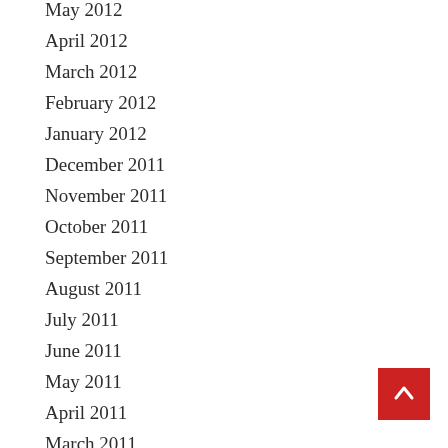May 2012
April 2012
March 2012
February 2012
January 2012
December 2011
November 2011
October 2011
September 2011
August 2011
July 2011
June 2011
May 2011
April 2011
March 2011
February 2011